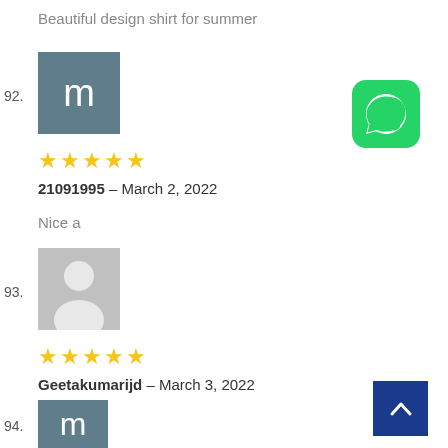Beautiful design shirt for summer
92. [avatar m] ★★★★★ 21091995 – March 2, 2022
Nice a
93. [avatar person] ★★★★★ Geetakumarijd – March 3, 2022
Good one
94. [avatar m]
[Figure (logo): WhatsApp icon - green rounded square with white phone/chat icon]
[Figure (other): Back to top button - dark blue square with white chevron up arrow]